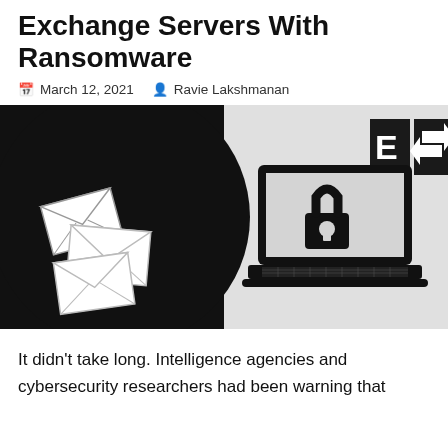Exchange Servers With Ransomware
March 12, 2021   Ravie Lakshmanan
[Figure (illustration): An illustration split into two halves. Left half has black background with a large black semicircle and three white envelope icons scattered. Right half has light grey background with a large padlock icon overlaid on an open laptop. In the center top area is the Microsoft Exchange logo (E with arrow icon).]
It didn't take long. Intelligence agencies and cybersecurity researchers had been warning that